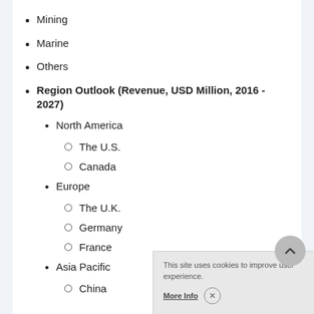Mining
Marine
Others
Region Outlook (Revenue, USD Million, 2016 - 2027)
North America
The U.S.
Canada
Europe
The U.K.
Germany
France
Asia Pacific
China